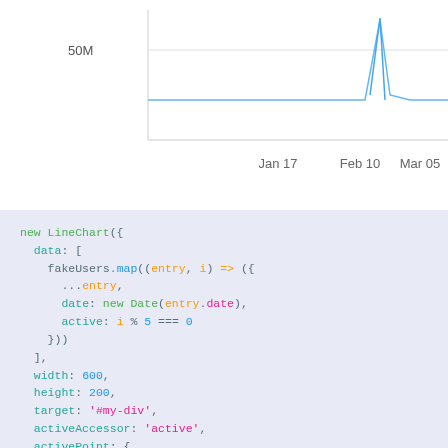[Figure (continuous-plot): Partial line chart visible at top of page showing a spike near Mar 05, with y-axis label 50M and x-axis labels Jan 17, Feb 10, Mar 05, Mar 28]
new LineChart({
  data: [
    fakeUsers.map((entry, i) => ({
      ...entry,
      date: new Date(entry.date),
      active: i % 5 === 0
    }))
  ],
  width: 600,
  height: 200,
  target: '#my-div',
  activeAccessor: 'active',
  activePoint: {
    radius: 2
  },
  tooltipFunction: (point) => `${formatDate(point.date)}: ${forma